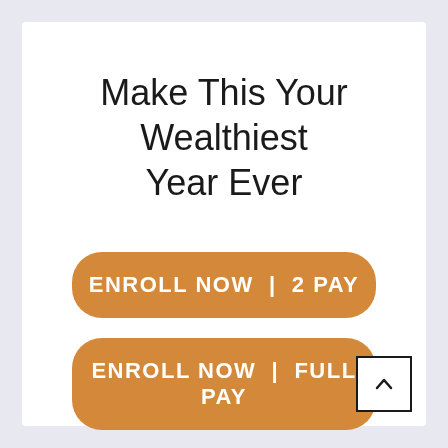Make This Your Wealthiest Year Ever
ENROLL NOW | 2 PAY
ENROLL NOW | FULL PAY